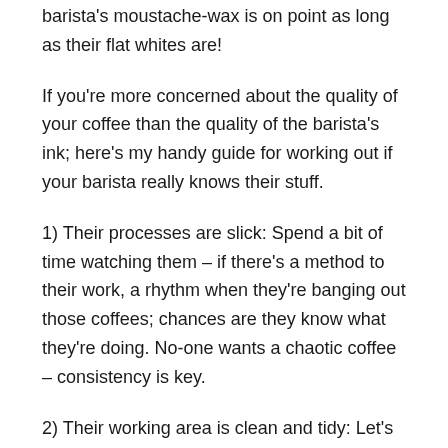barista's moustache-wax is on point as long as their flat whites are!
If you're more concerned about the quality of your coffee than the quality of the barista's ink; here's my handy guide for working out if your barista really knows their stuff.
1) Their processes are slick: Spend a bit of time watching them – if there's a method to their work, a rhythm when they're banging out those coffees; chances are they know what they're doing. No-one wants a chaotic coffee – consistency is key.
2) Their working area is clean and tidy: Let's face it; making a coffee is messy. There are coffee grounds flying